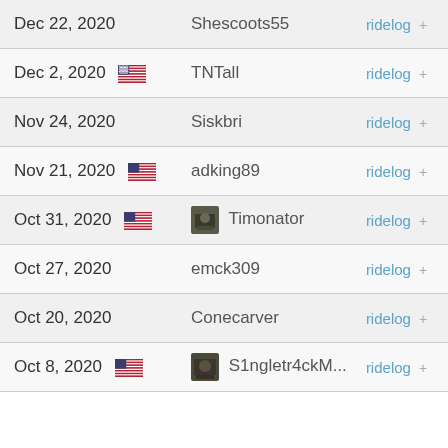| Date | User | Action |
| --- | --- | --- |
| Dec 22, 2020 | Shescoots55 | ridelog + |
| Dec 2, 2020 | TNTall | ridelog + |
| Nov 24, 2020 | Siskbri | ridelog + |
| Nov 21, 2020 | adking89 | ridelog + |
| Oct 31, 2020 | Timonator | ridelog + |
| Oct 27, 2020 | emck309 | ridelog + |
| Oct 20, 2020 | Conecarver | ridelog + |
| Oct 8, 2020 | S1ngletr4ckM... | ridelog + |